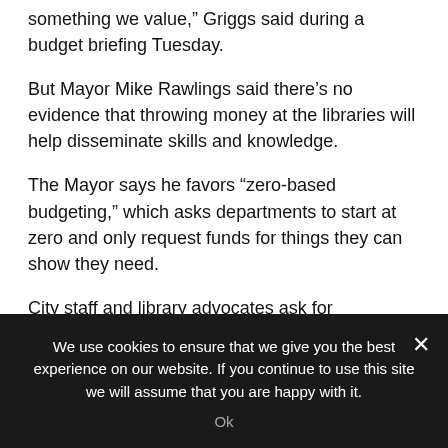something we value,” Griggs said during a budget briefing Tuesday.
But Mayor Mike Rawlings said there’s no evidence that throwing money at the libraries will help disseminate skills and knowledge.
The Mayor says he favors “zero-based budgeting,” which asks departments to start at zero and only request funds for things they can show they need.
City staff and library advocates ask for programming and technology, but there’s
We use cookies to ensure that we give you the best experience on our website. If you continue to use this site we will assume that you are happy with it.
Ok